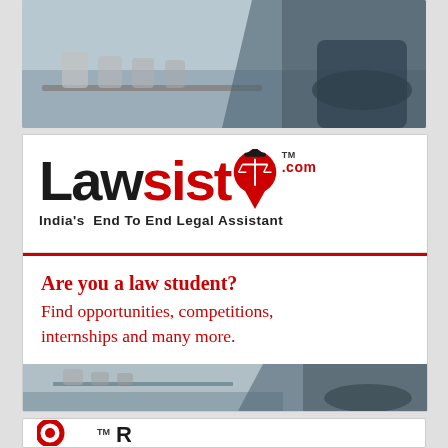[Figure (photo): Business professional in dark suit with arms crossed, blurred conference room background with cylindrical containers on table]
[Figure (logo): Lawsisto.com logo - India's End To End Legal Assistant. Bold text with red and black lettering, graduation cap and scales of justice icon, location pin, .com superscript]
Are you a law student? Find opportunities, competitions, internships and many more.
[Figure (photo): Business professional in dark suit with arms crossed, same conference room background as top photo]
[Figure (logo): Partial logo with red circular target/bullseye icon and TM mark, partial text visible at bottom]